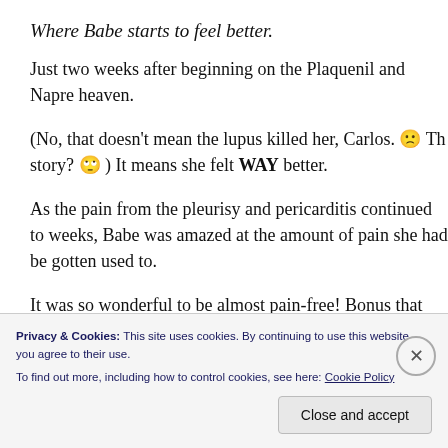Where Babe starts to feel better.
Just two weeks after beginning on the Plaquenil and Napro heaven.
(No, that doesn't mean the lupus killed her, Carlos. 🙁 Th story? 🙄 ) It means she felt WAY better.
As the pain from the pleurisy and pericarditis continued to weeks, Babe was amazed at the amount of pain she had be gotten used to.
It was so wonderful to be almost pain-free! Bonus that she
Privacy & Cookies: This site uses cookies. By continuing to use this website, you agree to their use.
To find out more, including how to control cookies, see here: Cookie Policy